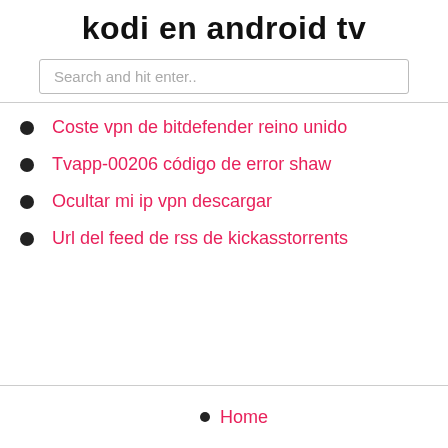kodi en android tv
Search and hit enter..
Coste vpn de bitdefender reino unido
Tvapp-00206 código de error shaw
Ocultar mi ip vpn descargar
Url del feed de rss de kickasstorrents
Home